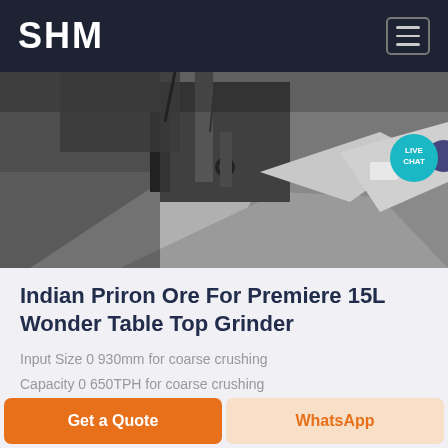SHM
[Figure (photo): Close-up photograph of industrial grinding/crushing machine metal components — heavy steel parts and machinery shown in grayscale.]
Indian Priron Ore For Premiere 15L Wonder Table Top Grinder
Input Size 0 930mm for coarse crushing
Capacity 0 650TPH for coarse crushing
Chat Now
Get a Quote
WhatsApp